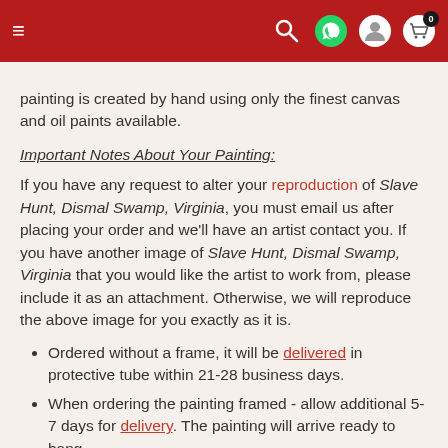Navigation bar with hamburger menu, search, WhatsApp, account, and cart icons
painting is created by hand using only the finest canvas and oil paints available.
Important Notes About Your Painting:
If you have any request to alter your reproduction of Slave Hunt, Dismal Swamp, Virginia, you must email us after placing your order and we'll have an artist contact you. If you have another image of Slave Hunt, Dismal Swamp, Virginia that you would like the artist to work from, please include it as an attachment. Otherwise, we will reproduce the above image for you exactly as it is.
Ordered without a frame, it will be delivered in protective tube within 21-28 business days.
When ordering the painting framed - allow additional 5-7 days for delivery. The painting will arrive ready to hang.